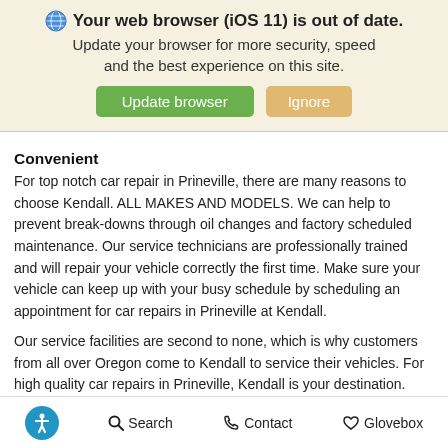[Figure (screenshot): Browser update notification banner with globe icon, bold warning text, and two buttons: green 'Update browser' and orange 'Ignore']
Convenient
For top notch car repair in Prineville, there are many reasons to choose Kendall. ALL MAKES AND MODELS. We can help to prevent break-downs through oil changes and factory scheduled maintenance. Our service technicians are professionally trained and will repair your vehicle correctly the first time. Make sure your vehicle can keep up with your busy schedule by scheduling an appointment for car repairs in Prineville at Kendall.
Our service facilities are second to none, which is why customers from all over Oregon come to Kendall to service their vehicles. For high quality car repairs in Prineville, Kendall is your destination. Make a convenient online
Accessibility icon  Search  Contact  Glovebox